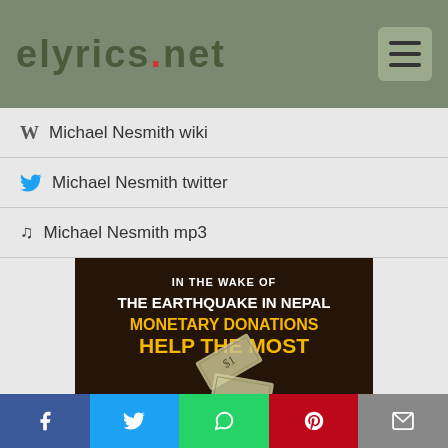eLyrics.net
W  Michael Nesmith wiki
Michael Nesmith twitter
Michael Nesmith mp3
[Figure (infographic): Ad image: 'In the wake of The Earthquake in Nepal, Monetary Donations Help the Most' with Ad Council logo and dollar bills imagery on dark background]
Share bar: Facebook, Twitter, WhatsApp, Pinterest, Email